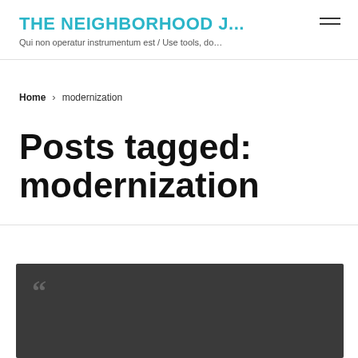THE NEIGHBORHOOD J...
Qui non operatur instrumentum est / Use tools, do…
Home > modernization
Posts tagged: modernization
[Figure (photo): Dark gray image area with large decorative opening quotation marks]